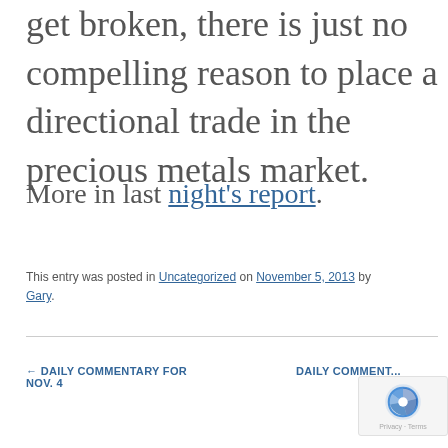get broken, there is just no compelling reason to place a directional trade in the precious metals market.
More in last night's report.
This entry was posted in Uncategorized on November 5, 2013 by Gary.
← DAILY COMMENTARY FOR NOV. 4
DAILY COMMENT...